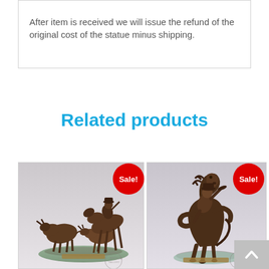After item is received we will issue the refund of the original cost of the statue minus shipping.
Related products
[Figure (photo): Bronze sculpture of a cowboy on horseback herding cattle, displayed on a marble base. Red 'Sale!' badge in top right corner.]
[Figure (photo): Bronze sculpture of a bucking bronco with rider, displayed on a marble base. Red 'Sale!' badge in top right corner.]